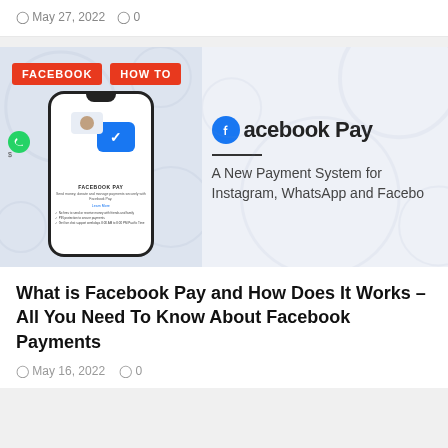May 27, 2022  0
[Figure (illustration): Facebook Pay promotional image showing a smartphone with Facebook Pay interface, WhatsApp green icon, blue Messenger icon, dollar signs, and Facebook Pay logo with text 'A New Payment System for Instagram, WhatsApp and Facebo'. Red tags 'FACEBOOK' and 'HOW TO' overlaid on top-left.]
What is Facebook Pay and How Does It Works – All You Need To Know About Facebook Payments
May 16, 2022  0